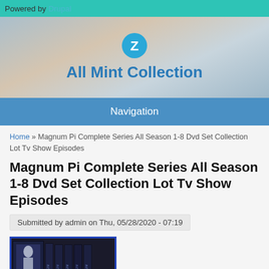Powered by Drupal
All Mint Collection
Navigation
Home » Magnum Pi Complete Series All Season 1-8 Dvd Set Collection Lot Tv Show Episodes
Magnum Pi Complete Series All Season 1-8 Dvd Set Collection Lot Tv Show Episodes
Submitted by admin on Thu, 05/28/2020 - 07:19
[Figure (photo): Magnum Pi Complete Series DVD box set showing multiple season cases with Tom Selleck on the cover]